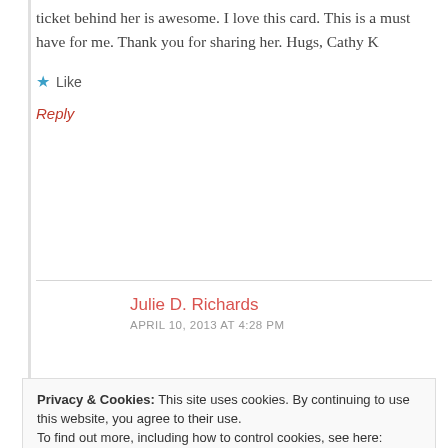ticket behind her is awesome. I love this card. This is a must have for me. Thank you for sharing her. Hugs, Cathy K
★ Like
Reply
Julie D. Richards
APRIL 10, 2013 AT 4:28 PM
Privacy & Cookies: This site uses cookies. By continuing to use this website, you agree to their use.
To find out more, including how to control cookies, see here: Cookie Policy
Close and accept
★ Like